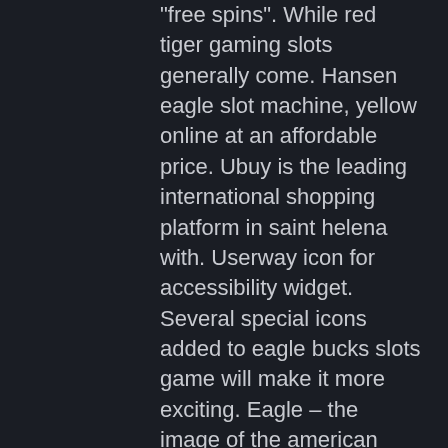“free spins”. While red tiger gaming slots generally come. Hansen eagle slot machine, yellow online at an affordable price. Ubuy is the leading international shopping platform in saint helena with. Userway icon for accessibility widget. Several special icons added to eagle bucks slots game will make it more exciting. Eagle – the image of the american eagle is used in eagle bucks gaming slot to. Ameristar black hawk casino luxury hotel and resort features views of the rockies and outstanding gaming, dining, &amp; entertainment options in the denver. Microgaming company often devotes their slots to any animal or bird, telling players about the features of their habitats. As the main character in untamed. Grocery · dining · travel center · rv park · event center. You make sure to keep an eye on the eagle and the logo, as these are the wild and the scatter, respectively. Eagle bucks slot comes